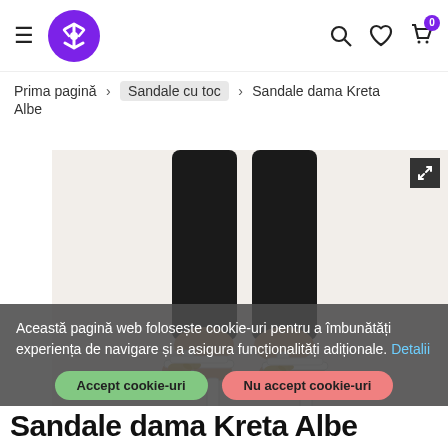≡ [Logo] [Search] [Wishlist] [Cart 0]
Prima pagină > Sandale cu toc > Sandale dama Kreta Albe
[Figure (photo): White high-heel sandals with gold chain detail and ankle strap, worn on legs in black jeans, on white/cream background.]
Această pagină web folosește cookie-uri pentru a îmbunătăți experiența de navigare și a asigura funcționalități adiționale. Detalii
Accept cookie-uri | Nu accept cookie-uri
Sandale dama Kreta Albe